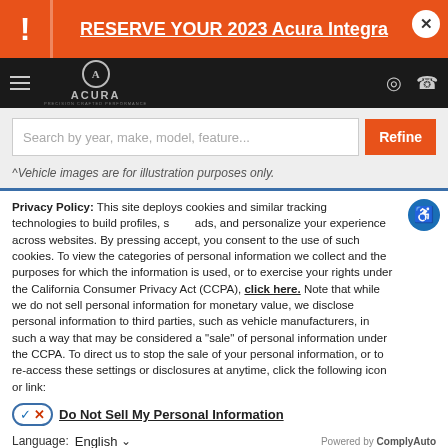RESERVE YOUR 2023 Acura Integra
[Figure (logo): Acura logo with wordmark on dark navigation bar]
[Figure (screenshot): Search bar with 'Search by year, make, model, feature...' placeholder and orange Refine button]
^Vehicle images are for illustration purposes only.
Privacy Policy: This site deploys cookies and similar tracking technologies to build profiles, serve ads, and personalize your experience across websites. By pressing accept, you consent to the use of such cookies. To view the categories of personal information we collect and the purposes for which the information is used, or to exercise your rights under the California Consumer Privacy Act (CCPA), click here. Note that while we do not sell personal information for monetary value, we disclose personal information to third parties, such as vehicle manufacturers, in such a way that may be considered a "sale" of personal information under the CCPA. To direct us to stop the sale of your personal information, or to re-access these settings or disclosures at anytime, click the following icon or link:
Do Not Sell My Personal Information
Language: English
Powered by ComplyAuto
Accept and Continue → | California Privacy Disclosures